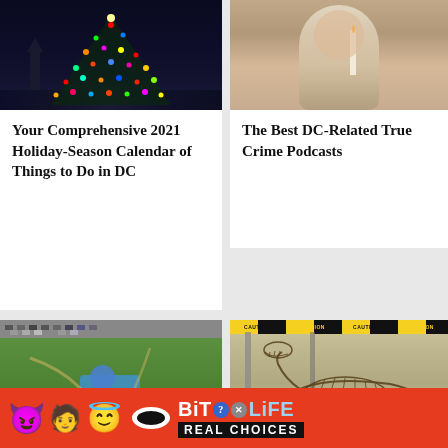[Figure (photo): Aerial night photo of colorful Christmas tree with Washington Monument in background]
Your Comprehensive 2021 Holiday-Season Calendar of Things to Do in DC
[Figure (photo): Woman smiling holding a candle at a dinner event]
The Best DC-Related True Crime Podcasts
[Figure (photo): Aerial view of a water park with pools and rides]
[Figure (photo): Dinosaur skeleton under caution tape in a construction/exhibit setting]
[Figure (screenshot): BitLife mobile game advertisement - REAL CHOICES with emoji characters]